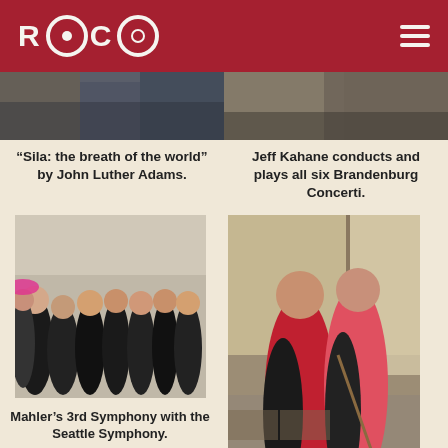ROCO
[Figure (photo): Partial top image left - outdoor event scene]
[Figure (photo): Partial top image right - concert or event scene]
“Sila: the breath of the world” by John Luther Adams.
Jeff Kahane conducts and plays all six Brandenburg Concerti.
[Figure (photo): Group photo of horn players from the Seattle Symphony in formal concert attire, some holding instruments]
Mahler’s 3rd Symphony with the Seattle Symphony.
[Figure (photo): Two women posing together, one in red holding a violin bow]